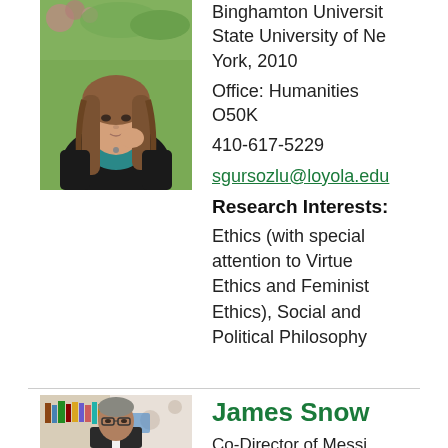[Figure (photo): Photo of a woman with long brown hair, wearing black jacket and teal top, with flowers in background]
Binghamton University, State University of New York, 2010
Office: Humanities O50K
410-617-5229
sgursozlu@loyola.edu
Research Interests:
Ethics (with special attention to Virtue Ethics and Feminist Ethics), Social and Political Philosophy
[Figure (photo): Photo of a man with glasses wearing a suit, with bookshelves in background]
James Snow
Co-Director of Messi